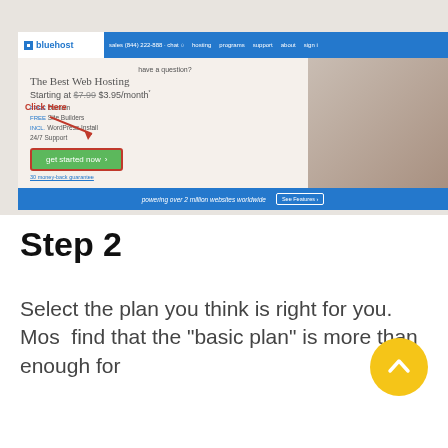[Figure (screenshot): Bluehost website screenshot showing the homepage with navigation bar, hero section with 'The Best Web Hosting Starting at $3.95/month' text, a green 'get started now' button highlighted with a red box and 'Click Here' annotation with red arrow, and a blue bottom bar saying 'powering over 2 million websites worldwide']
Step 2
Select the plan you think is right for you.  Most find that the "basic plan" is more than enough for